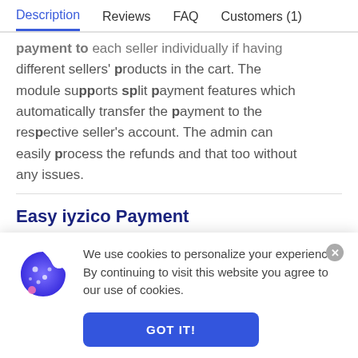Description | Reviews | FAQ | Customers (1)
payment to each seller individually if having different sellers' products in the cart. The module supports split payment features which automatically transfer the payment to the respective seller's account. The admin can easily process the refunds and that too without any issues.
Easy iyzico Payment Integration
We use cookies to personalize your experience. By continuing to visit this website you agree to our use of cookies.